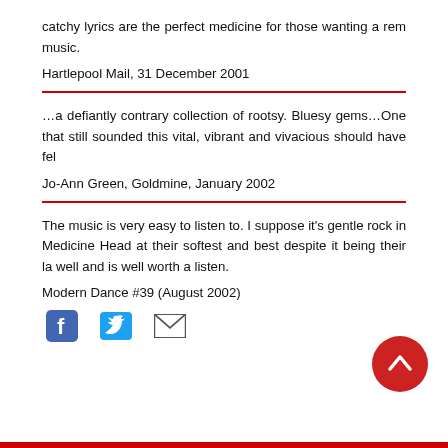catchy lyrics are the perfect medicine for those wanting a rem music.
Hartlepool Mail, 31 December 2001
…a defiantly contrary collection of rootsy. Bluesy gems…One that still sounded this vital, vibrant and vivacious should have fel
Jo-Ann Green, Goldmine, January 2002
The music is very easy to listen to. I suppose it's gentle rock in Medicine Head at their softest and best despite it being their la well and is well worth a listen.
Modern Dance #39 (August 2002)
[Figure (infographic): Social share icons: Facebook, Twitter, Email]
[Figure (illustration): Red circular scroll-to-top button with upward chevron]